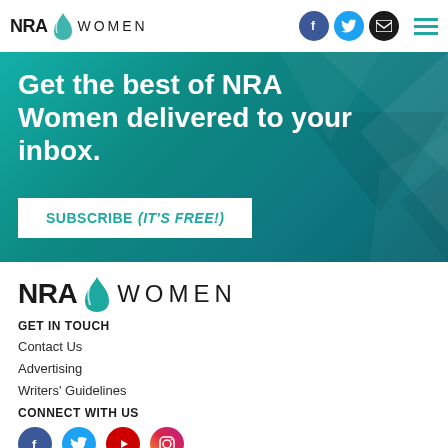NRA WOMEN
[Figure (screenshot): Teal/turquoise banner with geometric triangle pattern background. Large white bold text: 'Get the best of NRA Women delivered to your inbox.' White button with teal text: 'SUBSCRIBE (IT'S FREE!)']
[Figure (logo): NRA Women logo with teal leaf/flame swoosh mark between NRA and WOMEN text]
GET IN TOUCH
Contact Us
Advertising
Writers' Guidelines
CONNECT WITH US
[Figure (infographic): Row of social media icons: Facebook, Twitter, YouTube, Instagram]